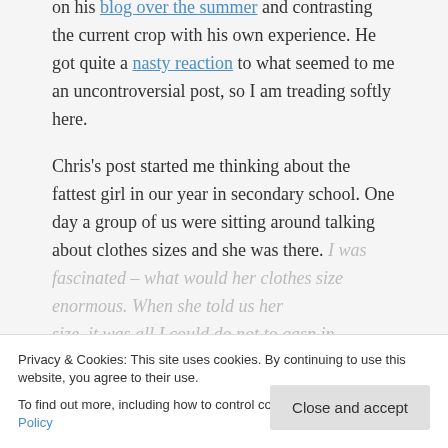Chris Cactus was thinking about fat children on his blog over the summer and contrasting the current crop with his own experience. He got quite a nasty reaction to what seemed to me an uncontroversial post, so I am treading softly here.
Chris's post started me thinking about the fattest girl in our year in secondary school. One day a group of us were sitting around talking about clothes sizes and she was there. I was fascinated – what would her clothes size be enormous. When she told us her size, it was all I could do not to gasp in amazement. In fact, I was so surprised that I remember to this day what size she said she
Privacy & Cookies: This site uses cookies. By continuing to use this website, you agree to their use.
To find out more, including how to control cookies, see here: Cookie Policy
Close and accept